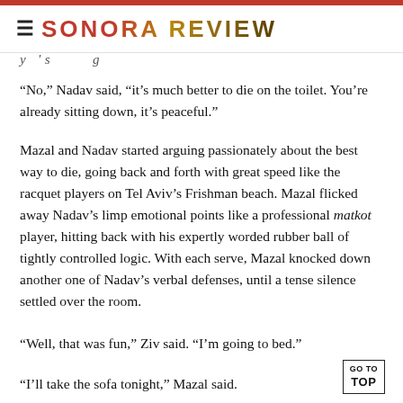SONORA REVIEW
y ' s g
“No,” Nadav said, “it’s much better to die on the toilet. You’re already sitting down, it’s peaceful.”
Mazal and Nadav started arguing passionately about the best way to die, going back and forth with great speed like the racquet players on Tel Aviv’s Frishman beach. Mazal flicked away Nadav’s limp emotional points like a professional matkot player, hitting back with his expertly worded rubber ball of tightly controlled logic. With each serve, Mazal knocked down another one of Nadav’s verbal defenses, until a tense silence settled over the room.
“Well, that was fun,” Ziv said. “I’m going to bed.”
“I’ll take the sofa tonight,” Mazal said.